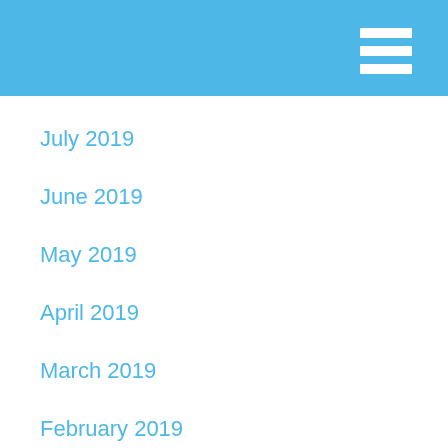July 2019
June 2019
May 2019
April 2019
March 2019
February 2019
December 2018